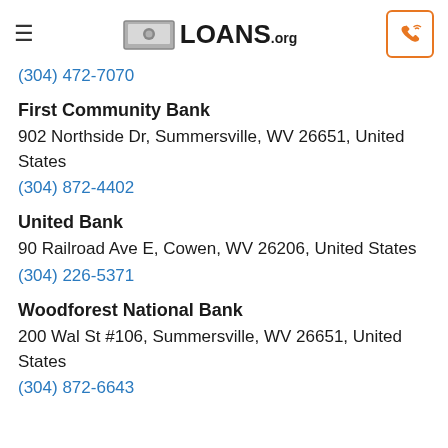LOANS.org
(304) 472-7070
First Community Bank
902 Northside Dr, Summersville, WV 26651, United States
(304) 872-4402
United Bank
90 Railroad Ave E, Cowen, WV 26206, United States
(304) 226-5371
Woodforest National Bank
200 Wal St #106, Summersville, WV 26651, United States
(304) 872-6643